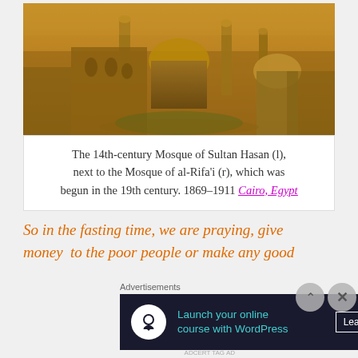[Figure (photo): Aerial view of the 14th-century Mosque of Sultan Hasan and the Mosque of al-Rifa'i in Cairo, Egypt, with golden/amber haze over the city skyline showing domes and minarets.]
The 14th-century Mosque of Sultan Hasan (l), next to the Mosque of al-Rifa'i (r), which was begun in the 19th century. 1869–1911 Cairo, Egypt
So in the fasting time, we are praying, give money  to the poor people or make any good
[Figure (screenshot): Advertisement banner: 'Advertisements' label above a dark banner with a white circle icon, teal text 'Launch your online course with WordPress' and a 'Learn More' button.]